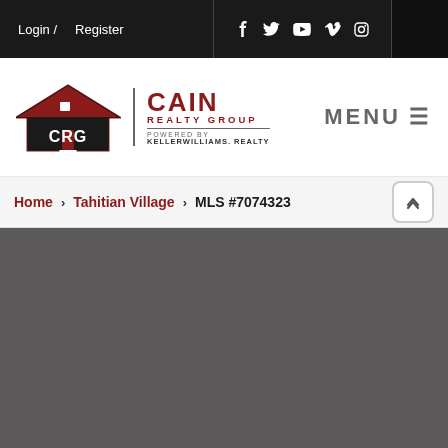Login / Register | Social icons: Facebook, Twitter, YouTube, Vimeo, Instagram
[Figure (logo): CRG Cain Realty Group powered by Keller Williams Realty logo with house icon]
MENU
Home > Tahitian Village > MLS #7074323
[Figure (photo): Dark gray property listing image area]